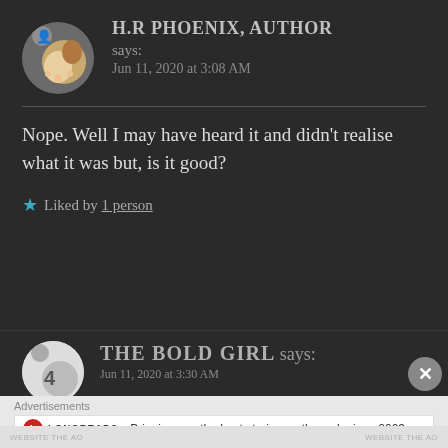H.R PHOENIX, AUTHOR says: Jun 11, 2020 at 3:08 AM
Nope. Well I may have heard it and didn't realise what it was but, is it good?
★ Liked by 1 person
THE BOLD GIRL says:
Advertisements
LONGREADS
Bringing you the best stories on the web since 2009.